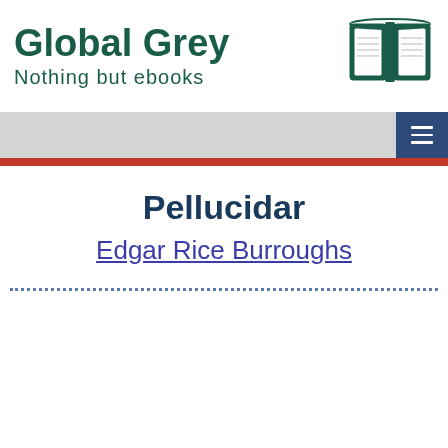[Figure (logo): Global Grey ebooks logo with open book icon. Text reads 'Global Grey' in large bold dark teal font and 'Nothing but ebooks' below it. Open book SVG icon to the right.]
Pellucidar
Edgar Rice Burroughs